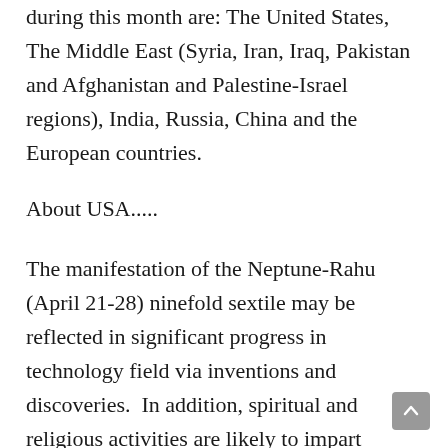during this month are:  The United States, The Middle East (Syria, Iran, Iraq, Pakistan and Afghanistan and Palestine-Israel regions), India, Russia, China and the European countries.
About USA.....
The manifestation of the Neptune-Rahu  (April 21-28) ninefold sextile may be reflected in significant progress in technology field via inventions and discoveries.  In addition, spiritual and religious activities are likely to impart positive energy and create a very healthy atmosphere around us.